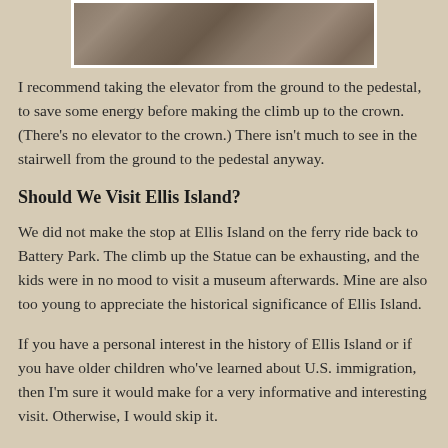[Figure (photo): Partial view of a statue, likely the Statue of Liberty, cropped at the top of the page]
I recommend taking the elevator from the ground to the pedestal, to save some energy before making the climb up to the crown. (There's no elevator to the crown.) There isn't much to see in the stairwell from the ground to the pedestal anyway.
Should We Visit Ellis Island?
We did not make the stop at Ellis Island on the ferry ride back to Battery Park. The climb up the Statue can be exhausting, and the kids were in no mood to visit a museum afterwards. Mine are also too young to appreciate the historical significance of Ellis Island.
If you have a personal interest in the history of Ellis Island or if you have older children who've learned about U.S. immigration, then I'm sure it would make for a very informative and interesting visit. Otherwise, I would skip it.